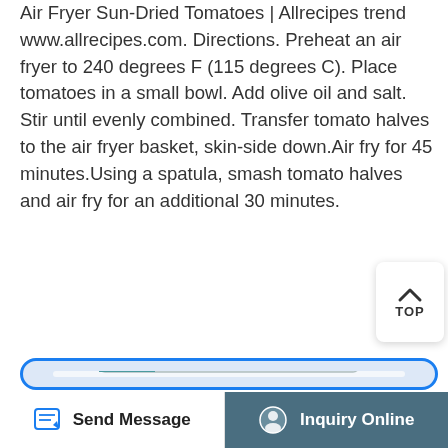Air Fryer Sun-Dried Tomatoes | Allrecipes trend www.allrecipes.com. Directions. Preheat an air fryer to 240 degrees F (115 degrees C). Place tomatoes in a small bowl. Add olive oil and salt. Stir until evenly combined. Transfer tomato halves to the air fryer basket, skin-side down.Air fry for 45 minutes.Using a spatula, smash tomato halves and air fry for an additional 30 minutes.
[Figure (screenshot): Blue 'Get Details' button with a 'TOP' back-to-top widget]
[Figure (photo): White/teal countertop oven or food dehydrator appliance shown inside a rounded card with blue border]
Send Message | Inquiry Online